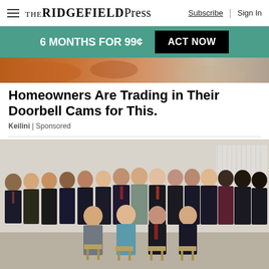THE RIDGEFIELD PRESS | Subscribe | Sign In
6 MONTHS FOR 99¢ ACT NOW
[Figure (photo): Partial cropped photo showing orange and light-colored background, appears to be top of an object]
Homeowners Are Trading in Their Doorbell Cams for This.
Keilini | Sponsored
[Figure (photo): Group photo of approximately 25 young professionals in formal business attire (suits and business clothing), standing and seated in rows. Three people are seated in the front on chairs. The group appears to be in a conference or office setting.]